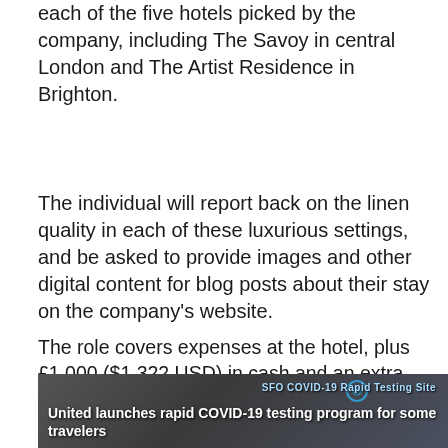each of the five hotels picked by the company, including The Savoy in central London and The Artist Residence in Brighton.
The individual will report back on the linen quality in each of these luxurious settings, and be asked to provide images and other digital content for blog posts about their stay on the company’s website.
The role covers expenses at the hotel, plus £1,000 ($1,322 USD) in cash and an extra £500 ($661 USD) to go toward travel expenses. The candidate is responsible for making their own travel arrangements.
[Figure (photo): Screenshot of a news video thumbnail showing a COVID-19 rapid testing site at SFO airport with headline 'United launches rapid COVID-19 testing program for some travelers']